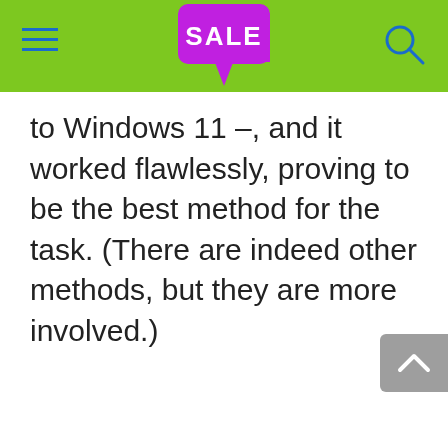[Figure (screenshot): Green navigation header bar with hamburger menu icon on left (blue lines), a magenta/purple speech bubble with 'SALE' text in the center, and a search icon (circle with handle) on the right]
to Windows 11 –, and it worked flawlessly, proving to be the best method for the task. (There are indeed other methods, but they are more involved.)
[Figure (other): Gray scroll-to-top button with upward chevron arrow, positioned at bottom right]